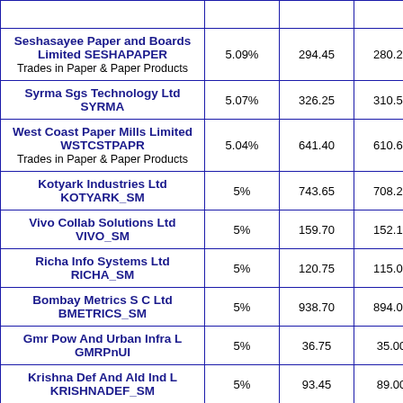| Company | % Change | High | Low |
| --- | --- | --- | --- |
| Seshasayee Paper and Boards Limited SESHAPAPER
Trades in Paper & Paper Products | 5.09% | 294.45 | 280.20 |
| Syrma Sgs Technology Ltd SYRMA | 5.07% | 326.25 | 310.50 |
| West Coast Paper Mills Limited WSTCSTPAPR
Trades in Paper & Paper Products | 5.04% | 641.40 | 610.65 |
| Kotyark Industries Ltd KOTYARK_SM | 5% | 743.65 | 708.25 |
| Vivo Collab Solutions Ltd VIVO_SM | 5% | 159.70 | 152.10 |
| Richa Info Systems Ltd RICHA_SM | 5% | 120.75 | 115.00 |
| Bombay Metrics S C Ltd BMETRICS_SM | 5% | 938.70 | 894.00 |
| Gmr Pow And Urban Infra L GMRPnUI | 5% | 36.75 | 35.00 |
| Krishna Def And Ald Ind L KRISHNADEF_SM | 5% | 93.45 | 89.00 |
| Global Education Limited... |  |  |  |